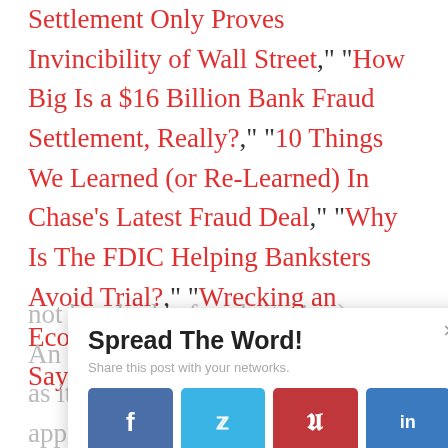Settlement Only Proves Invincibility of Wall Street," "How Big Is a $16 Billion Bank Fraud Settlement, Really?," "10 Things We Learned (or Re-Learned) In Chase's Latest Fraud Deal," "Why Is The FDIC Helping Banksters Avoid Trial?," "Wrecking an Economy Means Never Having to Say You're Sorry" and dozens if not hundreds of such stories.)
Spread The Word!
Share this post with your networks.
[Figure (infographic): Social sharing buttons: Facebook, Twitter, Pinterest, LinkedIn]
An example of (non-)enforcement as it applies to the words in trade agreements is illustrated by the